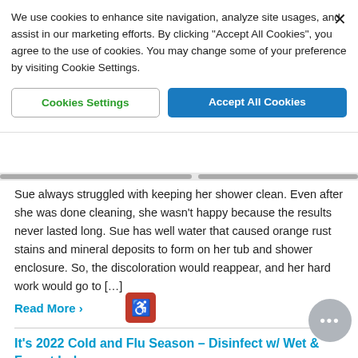We use cookies to enhance site navigation, analyze site usages, and assist in our marketing efforts. By clicking “Accept All Cookies”, you agree to the use of cookies. You may change some of your preference by visiting Cookie Settings.
[Figure (screenshot): Cookie consent dialog with two buttons: 'Cookies Settings' (outlined) and 'Accept All Cookies' (blue filled). An X close button appears in the top right.]
Sue always struggled with keeping her shower clean. Even after she was done cleaning, she wasn’t happy because the results never lasted long. Sue has well water that caused orange rust stains and mineral deposits to form on her tub and shower enclosure. So, the discoloration would reappear, and her hard work would go to […]
Read More »
It’s 2022 Cold and Flu Season – Disinfect w/ Wet & Forget Indoor
By Wet & Forget